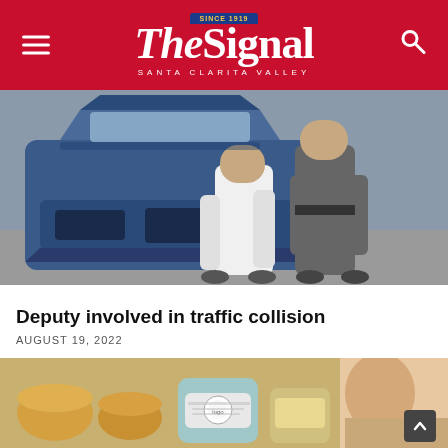The Signal — Santa Clarita Valley
[Figure (photo): A person in a white shirt being escorted by a law enforcement officer near a heavily damaged blue vehicle with a crumpled front end and hood open.]
Deputy involved in traffic collision
AUGUST 19, 2022
[Figure (photo): Partial view of food containers and branded packaging on a table, alongside a partial view of a person's face on the right side.]